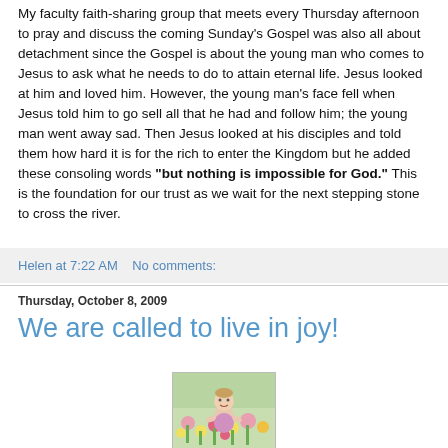My faculty faith-sharing group that meets every Thursday afternoon to pray and discuss the coming Sunday's Gospel was also all about detachment since the Gospel is about the young man who comes to Jesus to ask what he needs to do to attain eternal life. Jesus looked at him and loved him. However, the young man's face fell when Jesus told him to go sell all that he had and follow him; the young man went away sad. Then Jesus looked at his disciples and told them how hard it is for the rich to enter the Kingdom but he added these consoling words "but nothing is impossible for God." This is the foundation for our trust as we wait for the next stepping stone to cross the river.
Helen at 7:22 AM    No comments:
Thursday, October 8, 2009
We are called to live in joy!
[Figure (photo): A baby or toddler sitting among colorful flowers in a garden, photo partially visible]